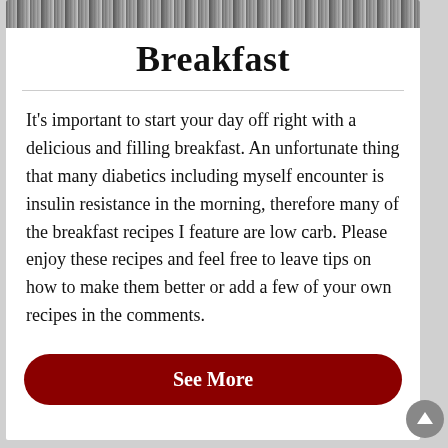[Figure (photo): Grayscale banner image at top of card, appears to show trees or foliage]
Breakfast
It's important to start your day off right with a delicious and filling breakfast. An unfortunate thing that many diabetics including myself encounter is insulin resistance in the morning, therefore many of the breakfast recipes I feature are low carb. Please enjoy these recipes and feel free to leave tips on how to make them better or add a few of your own recipes in the comments.
See More